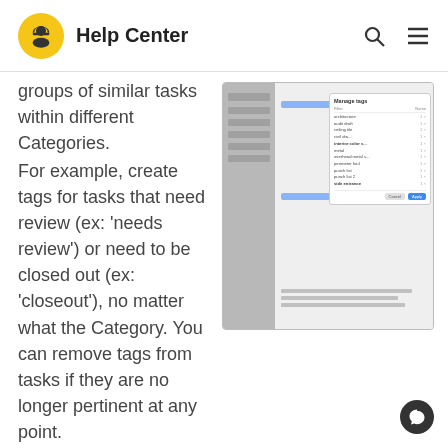Help Center
groups of similar tasks within different Categories.
[Figure (screenshot): Screenshot of a task management application showing a sidebar with navigation items and a main panel with a 'Manage Tags' popup dialog listing various tags with counts and remove buttons, plus two blue highlighted rows and a Cancel/Apply button at the bottom.]
For example, create tags for tasks that need review (ex: 'needs review') or need to be closed out (ex: 'closeout'), no matter what the Category. You can remove tags from tasks if they are no longer pertinent at any point.